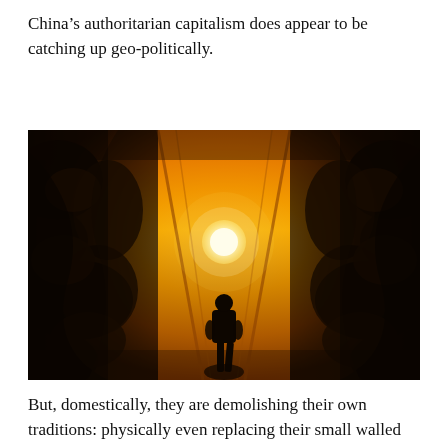China’s authoritarian capitalism does appear to be catching up geo-politically.
[Figure (photo): A dramatic artistic/surreal photograph showing a lone human silhouette standing on rocks, facing a bright glowing sun in a corridor of orange-golden light, flanked on both sides by towering dark swirling rocky or industrial structures creating a symmetrical tunnel effect.]
But, domestically, they are demolishing their own traditions: physically even replacing their small walled